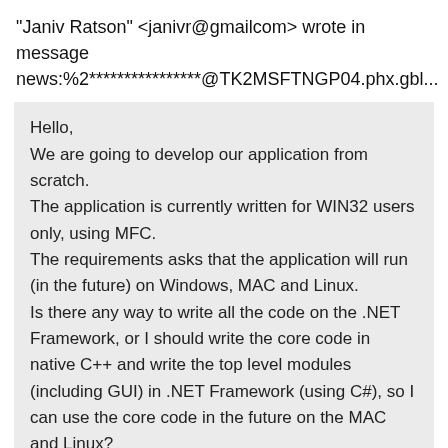"Janiv Ratson" <janivr@gmailcom> wrote in message news:%2****************@TK2MSFTNGP04.phx.gbl...
Hello,
We are going to develop our application from scratch. The application is currently written for WIN32 users only, using MFC.
The requirements asks that the application will run (in the future) on Windows, MAC and Linux.
Is there any way to write all the code on the .NET Framework, or I should write the core code in native C++ and write the top level modules (including GUI) in .NET Framework (using C#), so I can use the core code in the future on the MAC and Linux?